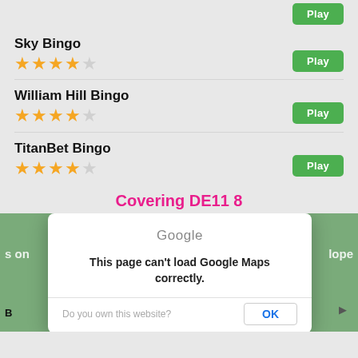[Figure (screenshot): Play button at top right (continuation from previous item)]
Sky Bingo
[Figure (other): 4 out of 5 stars rating for Sky Bingo]
[Figure (screenshot): Play button for Sky Bingo]
William Hill Bingo
[Figure (other): 4 out of 5 stars rating for William Hill Bingo]
[Figure (screenshot): Play button for William Hill Bingo]
TitanBet Bingo
[Figure (other): 4 out of 5 stars rating for TitanBet Bingo]
[Figure (screenshot): Play button for TitanBet Bingo]
Covering DE11 8
[Figure (screenshot): Google Maps area showing DE11 8 with a dialog overlay: 'This page can't load Google Maps correctly. Do you own this website? OK']